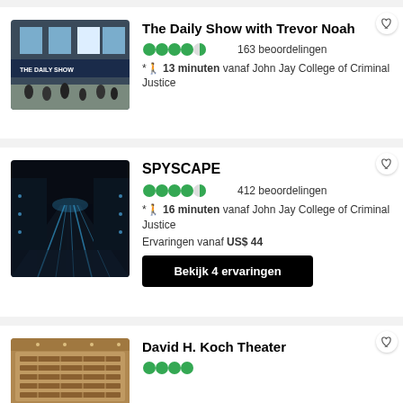[Figure (photo): The Daily Show storefront with people queuing outside]
The Daily Show with Trevor Noah
163 beoordelingen
13 minuten vanaf John Jay College of Criminal Justice
[Figure (photo): SPYSCAPE interior dark corridor with lights]
SPYSCAPE
412 beoordelingen
16 minuten vanaf John Jay College of Criminal Justice
Ervaringen vanaf US$ 44
Bekijk 4 ervaringen
[Figure (photo): David H. Koch Theater interior]
David H. Koch Theater